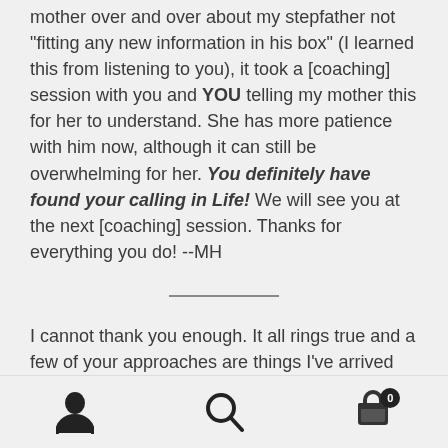mother over and over about my stepfather not "fitting any new information in his box" (I learned this from listening to you), it took a [coaching] session with you and YOU telling my mother this for her to understand. She has more patience with him now, although it can still be overwhelming for her. You definitely have found your calling in Life! We will see you at the next [coaching] session. Thanks for everything you do! --MH
I cannot thank you enough. It all rings true and a few of your approaches are things I've arrived at, by trial and error (Mostly the latter. lOL). But you explain what the...
Navigation bar with user, search, and cart icons